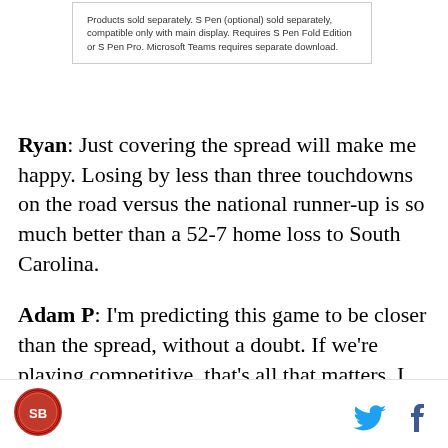Products sold separately. S Pen (optional) sold separately, compatible only with main display. Requires S Pen Fold Edition or S Pen Pro. Microsoft Teams requires separate download.
Ryan: Just covering the spread will make me happy. Losing by less than three touchdowns on the road versus the national runner-up is so much better than a 52-7 home loss to South Carolina.
Adam P: I'm predicting this game to be closer than the spread, without a doubt. If we're playing competitive, that's all that matters. I don't think we will win, but I would hate to get USC'd and our players get so emotionally killed that they can't recover. I don't think that will happen, but you never know. First game = moral victory.
SB Nation logo, Twitter icon, Facebook icon